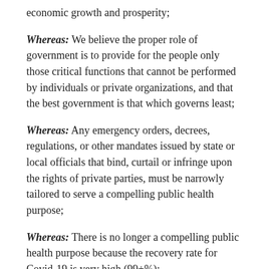economic growth and prosperity;
Whereas: We believe the proper role of government is to provide for the people only those critical functions that cannot be performed by individuals or private organizations, and that the best government is that which governs least;
Whereas: Any emergency orders, decrees, regulations, or other mandates issued by state or local officials that bind, curtail or infringe upon the rights of private parties, must be narrowly tailored to serve a compelling public health purpose;
Whereas: There is no longer a compelling public health purpose because the recovery rate for Covid-19 is very high (99+%);